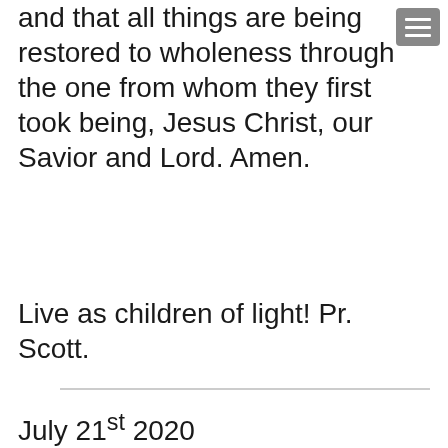and that all things are being restored to wholeness through the one from whom they first took being, Jesus Christ, our Savior and Lord. Amen.
Live as children of light! Pr. Scott.
July 21st 2020
Welcome to the week's edition of "Tuesday's Tour & Prayer." Every Tuesday this email features a scene from Millcreek Lutheran Church (MLC)